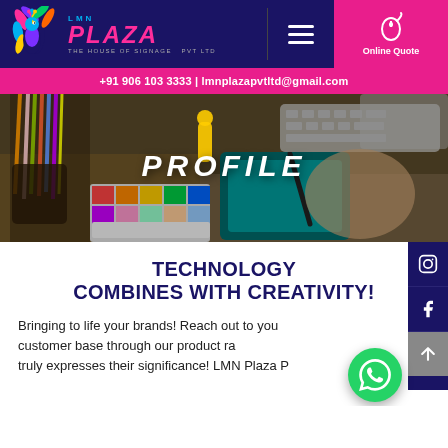[Figure (logo): LMN Plaza Pvt Ltd logo — peacock icon on left, 'LMN' above 'PLAZA' in pink italic bold, tagline 'THE HOUSE OF SIGNAGE PVT LTD' below]
+91 906 103 3333 | lmnplazapvtltd@gmail.com
[Figure (photo): Hero banner photo of a graphic designer working at a desk with color swatches, pencils, drawing tablet, keyboard; overlaid text reads 'PROFILE' in white italic bold]
TECHNOLOGY COMBINES WITH CREATIVITY!
Bringing to life your brands! Reach out to your customer base through our product range that truly expresses their significance! LMN Plaza P...